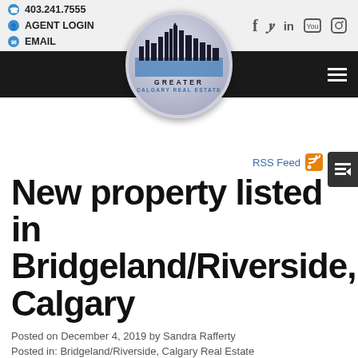403.241.7555 | AGENT LOGIN | EMAIL
[Figure (logo): Greater Calgary Real Estate logo — circular badge with city skyline silhouette, text GREATER / CALGARY REAL ESTATE]
RSS Feed
New property listed in Bridgeland/Riverside, Calgary
Posted on December 4, 2019 by Sandra Rafferty
Posted in: Bridgeland/Riverside, Calgary Real Estate